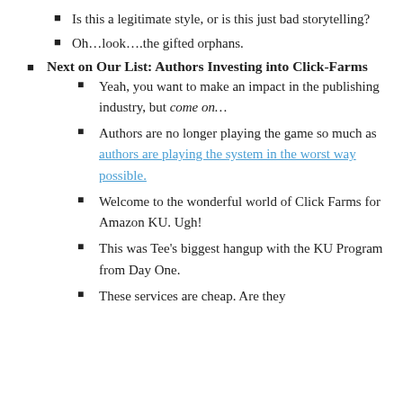Is this a legitimate style, or is this just bad storytelling?
Oh…look….the gifted orphans.
Next on Our List: Authors Investing into Click-Farms
Yeah, you want to make an impact in the publishing industry, but come on…
Authors are no longer playing the game so much as authors are playing the system in the worst way possible.
Welcome to the wonderful world of Click Farms for Amazon KU. Ugh!
This was Tee's biggest hangup with the KU Program from Day One.
These services are cheap. Are they